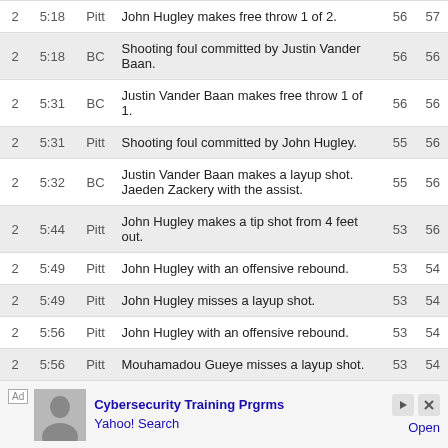| Qtr | Time | Team | Description |  |  |
| --- | --- | --- | --- | --- | --- |
| 2 | 5:18 | Pitt | John Hugley makes free throw 1 of 2. | 56 | 57 |
| 2 | 5:18 | BC | Shooting foul committed by Justin Vander Baan. | 56 | 56 |
| 2 | 5:31 | BC | Justin Vander Baan makes free throw 1 of 1. | 56 | 56 |
| 2 | 5:31 | Pitt | Shooting foul committed by John Hugley. | 55 | 56 |
| 2 | 5:32 | BC | Justin Vander Baan makes a layup shot. Jaeden Zackery with the assist. | 55 | 56 |
| 2 | 5:44 | Pitt | John Hugley makes a tip shot from 4 feet out. | 53 | 56 |
| 2 | 5:49 | Pitt | John Hugley with an offensive rebound. | 53 | 54 |
| 2 | 5:49 | Pitt | John Hugley misses a layup shot. | 53 | 54 |
| 2 | 5:56 | Pitt | John Hugley with an offensive rebound. | 53 | 54 |
| 2 | 5:56 | Pitt | Mouhamadou Gueye misses a layup shot. | 53 | 54 |
| 2 | 6:23 | BC | Makai Ashton-Langford makes free throw 2 of 2. | 53 | 54 |
[Figure (other): Advertisement bar: Ad label, person image, 'Cybersecurity Training Prgrms / Yahoo! Search', play and X icons, Open button]